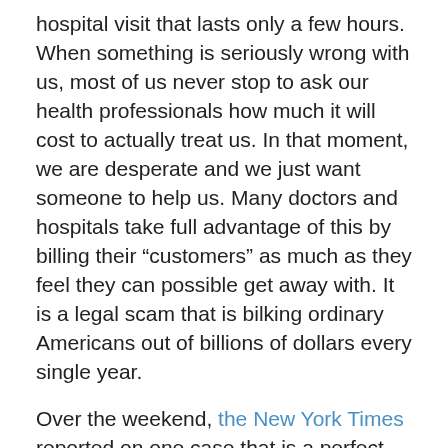hospital visit that lasts only a few hours.  When something is seriously wrong with us, most of us never stop to ask our health professionals how much it will cost to actually treat us.  In that moment, we are desperate and we just want someone to help us.  Many doctors and hospitals take full advantage of this by billing their “customers” as much as they feel they can possible get away with.  It is a legal scam that is bilking ordinary Americans out of billions of dollars every single year.
Over the weekend, the New York Times reported on one case that is a perfect example of the outrageous medical billing that I am talking about…
Before his three-hour neck surgery for herniated disks in December, Peter Drier, 37, signed a pile of consent forms. A bank technology manager who had researched his